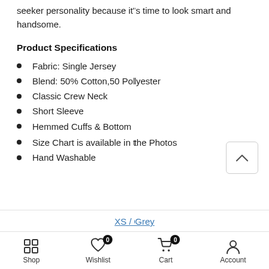seeker personality because it's time to look smart and handsome.
Product Specifications
Fabric: Single Jersey
Blend: 50% Cotton,50 Polyester
Classic Crew Neck
Short Sleeve
Hemmed Cuffs & Bottom
Size Chart is available in the Photos
Hand Washable
XS / Grey
- 1 + ADD TO CART
Shop  Wishlist 0  Cart 0  Account